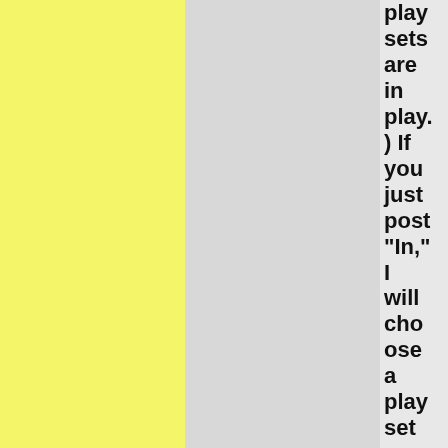play sets are in play. ) If you just post "In," I will choose a play set semi-arbitrarily, and